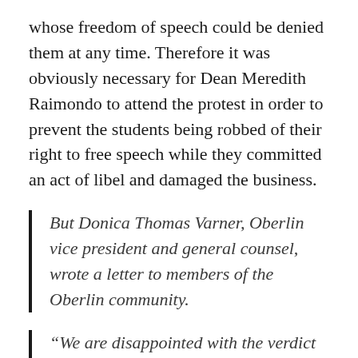whose freedom of speech could be denied them at any time. Therefore it was obviously necessary for Dean Meredith Raimondo to attend the protest in order to prevent the students being robbed of their right to free speech while they committed an act of libel and damaged the business.
But Donica Thomas Varner, Oberlin vice president and general counsel, wrote a letter to members of the Oberlin community.
“We are disappointed with the verdict and regret that the jury did not agree with the clear evidence our team